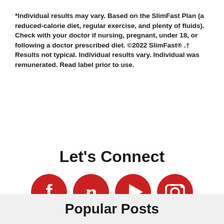*Individual results may vary. Based on the SlimFast Plan (a reduced-calorie diet, regular exercise, and plenty of fluids). Check with your doctor if nursing, pregnant, under 18, or following a doctor prescribed diet. ©2022 SlimFast® .† Results not typical. Individual results vary. Individual was remunerated. Read label prior to use.
Let's Connect
[Figure (illustration): Four red circular social media icons in a row: Facebook (f), Pinterest (p), YouTube (play button), Instagram (camera)]
Popular Posts